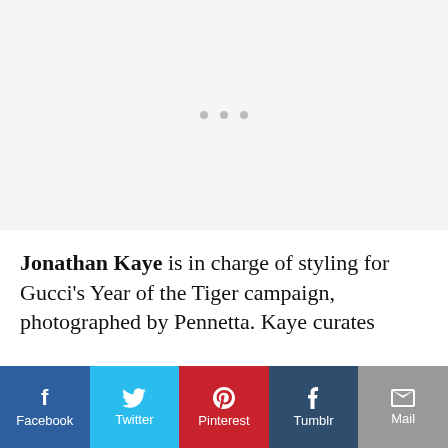[Figure (other): Large image placeholder area with three grey dots indicating a loading carousel or image slider]
Jonathan Kaye is in charge of styling for Gucci's Year of the Tiger campaign, photographed by Pennetta. Kaye curates
[Figure (infographic): Social sharing bar with five buttons: Facebook (dark blue), Twitter (light blue), Pinterest (red), Tumblr (dark blue-grey), Mail (grey)]